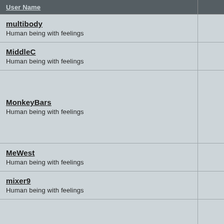| User Name |  |
| --- | --- |
| multibody
Human being with feelings |  |
| MiddleC
Human being with feelings |  |
| MonkeyBars
Human being with feelings |  |
| MeWest
Human being with feelings |  |
| mixer9
Human being with feelings |  |
| maxdembo
Human being with feelings |  |